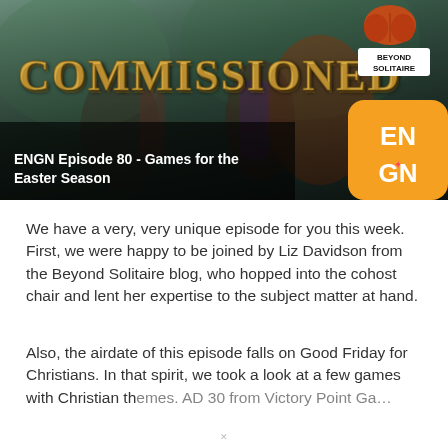[Figure (illustration): Hero banner image showing the board game 'Commissioned' with illustrated biblical figures in the background. The game title 'COMMISSIONED' is displayed in large golden stylized letters. Top right shows the Beyond Solitaire logo (brain icon with text). Bottom left shows episode title overlay. Bottom right shows ENGN orange logo.]
ENGN Episode 80 - Games for the Easter Season
We have a very, very unique episode for you this week. First, we were happy to be joined by Liz Davidson from the Beyond Solitaire blog, who hopped into the cohost chair and lent her expertise to the subject matter at hand.
Also, the airdate of this episode falls on Good Friday for Christians. In that spirit, we took a look at a few games with Christian themes. AD 30 from Victory Point Ga...